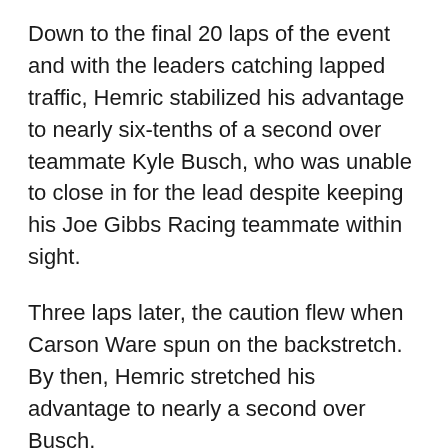Down to the final 20 laps of the event and with the leaders catching lapped traffic, Hemric stabilized his advantage to nearly six-tenths of a second over teammate Kyle Busch, who was unable to close in for the lead despite keeping his Joe Gibbs Racing teammate within sight.
Three laps later, the caution flew when Carson Ware spun on the backstretch. By then, Hemric stretched his advantage to nearly a second over Busch.
Under caution, nearly all of the leaders pitted and Hemric exited pit road ahead of teammate Kyle